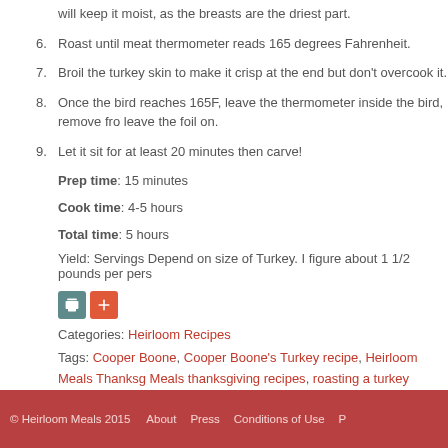will keep it moist, as the breasts are the driest part.
6. Roast until meat thermometer reads 165 degrees Fahrenheit.
7. Broil the turkey skin to make it crisp at the end but don't overcook it.
8. Once the bird reaches 165F, leave the thermometer inside the bird, remove fro leave the foil on.
9. Let it sit for at least 20 minutes then carve!
Prep time: 15 minutes
Cook time: 4-5 hours
Total time: 5 hours
Yield: Servings Depend on size of Turkey. I figure about 1 1/2 pounds per pers
Categories: Heirloom Recipes
Tags: Cooper Boone, Cooper Boone's Turkey recipe, Heirloom Meals Thanksg Meals thanksgiving recipes, roasting a turkey
© Heirloom Meals 2015   About   Press   Conditions of Use   P